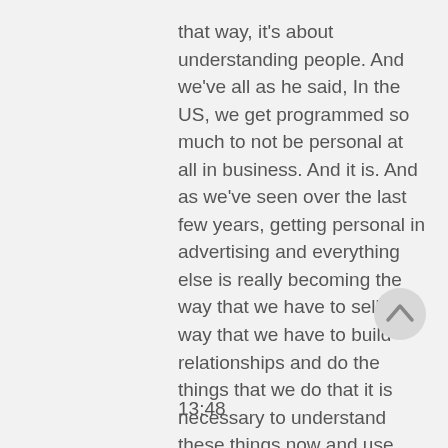that way, it's about understanding people. And we've all as he said, In the US, we get programmed so much to not be personal at all in business. And it is. And as we've seen over the last few years, getting personal in advertising and everything else is really becoming the way that we have to sell the way that we have to build relationships and do the things that we do that it is necessary to understand these things now and use them and in every day that we everyday life that we as much as we can. So
[Figure (other): Circular scroll-to-top button with an upward arrow icon]
13:48